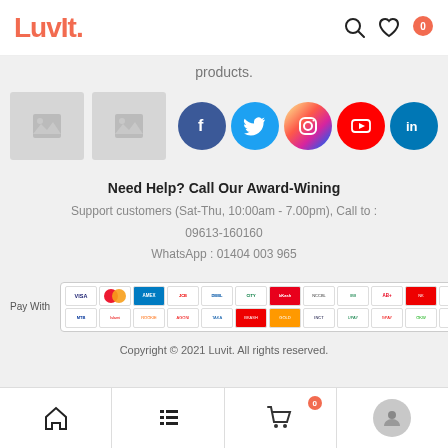LuvIt. [search icon] [heart icon] 0
products.
[Figure (screenshot): Two placeholder image thumbnails and five social media icons (Facebook, Twitter, Instagram, YouTube, LinkedIn)]
Need Help? Call Our Award-Wining
Support customers (Sat-Thu, 10:00am - 7.00pm), Call to : 09613-160160
WhatsApp : 01404 003 965
[Figure (other): Pay With section showing multiple payment method logos in a grid, enabled by SSLCommerz]
Copyright © 2021 Luvit. All rights reserved.
Home | Menu | Cart (0) | Profile